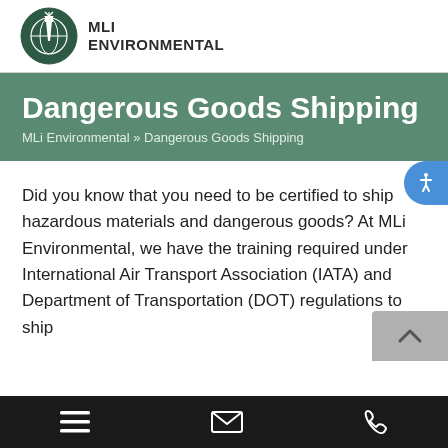[Figure (logo): MLi Environmental logo — lighthouse with globe, dark green circle, with text MLi ENVIRONMENTAL to the right]
Dangerous Goods Shipping
MLi Environmental » Dangerous Goods Shipping
Did you know that you need to be certified to ship hazardous materials and dangerous goods? At MLi Environmental, we have the training required under International Air Transport Association (IATA) and Department of Transportation (DOT) regulations to ship